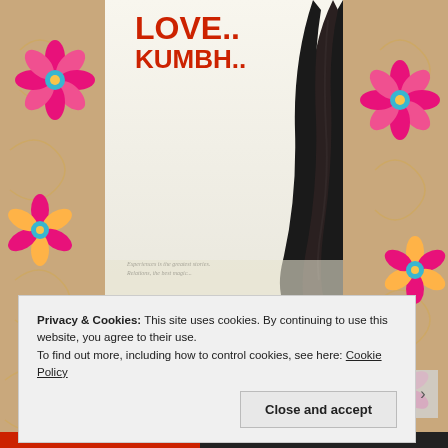[Figure (illustration): Decorative floral background with tan/brown color and pink, yellow, and teal flowers with swirl patterns on both sides of the page]
[Figure (photo): Book cover showing the title LOVE.. KUMBH.. in red bold letters with a woman's dark curly hair on the right side and a subtitle at the bottom]
Author: Aporva Kala
Genre: Fiction/Philosophy
Publisher: Srishti
Privacy & Cookies: This site uses cookies. By continuing to use this website, you agree to their use.
To find out more, including how to control cookies, see here: Cookie Policy
Close and accept